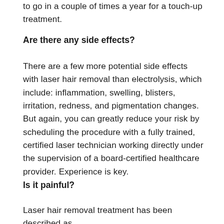to go in a couple of times a year for a touch-up treatment.
Are there any side effects?
There are a few more potential side effects with laser hair removal than electrolysis, which include: inflammation, swelling, blisters, irritation, redness, and pigmentation changes. But again, you can greatly reduce your risk by scheduling the procedure with a fully trained, certified laser technician working directly under the supervision of a board-certified healthcare provider. Experience is key.
Is it painful?
Laser hair removal treatment has been described as